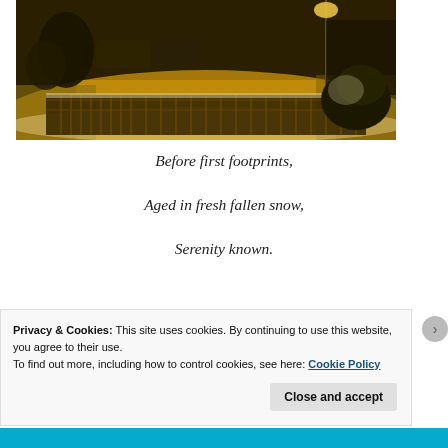[Figure (photo): Night-time street scene showing snow-covered road and sidewalk illuminated by amber/yellow street lighting, with a wooden fence in the foreground and parked cars and buildings in the background.]
Before first footprints,
Aged in fresh fallen snow,
Serenity known.
Privacy & Cookies: This site uses cookies. By continuing to use this website, you agree to their use.
To find out more, including how to control cookies, see here: Cookie Policy
Close and accept